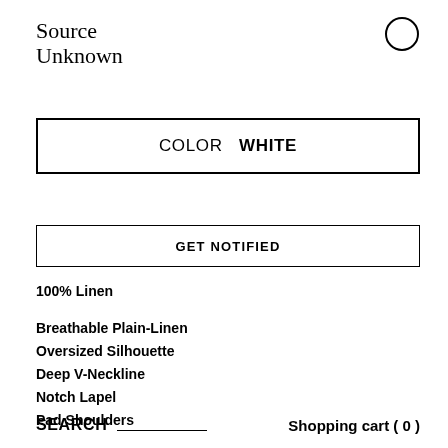Source Unknown
COLOR  WHITE
GET NOTIFIED
100% Linen
Breathable Plain-Linen
Oversized Silhouette
Deep V-Neckline
Notch Lapel
Pad Shoulders
SEARCH   _______________   Shopping cart ( 0 )